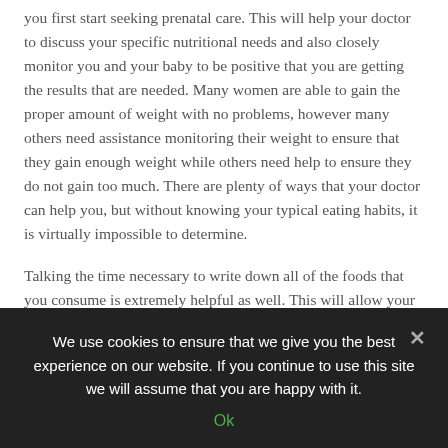you first start seeking prenatal care. This will help your doctor to discuss your specific nutritional needs and also closely monitor you and your baby to be positive that you are getting the results that are needed. Many women are able to gain the proper amount of weight with no problems, however many others need assistance monitoring their weight to ensure that they gain enough weight while others need help to ensure they do not gain too much. There are plenty of ways that your doctor can help you, but without knowing your typical eating habits, it is virtually impossible to determine.

Talking the time necessary to write down all of the foods that you consume is extremely helpful as well. This will allow your doctor to quickly and easily see if there is anything that you should be eating that you are not presently eating. Additionally, taking a multi-vitamin is very important. This will help you to ensure that any deficiencies that you might have are actually resolved, rather than just ignored. Taking steps to ensure you stay in good health is much better than waiting
We use cookies to ensure that we give you the best experience on our website. If you continue to use this site we will assume that you are happy with it.
Ok